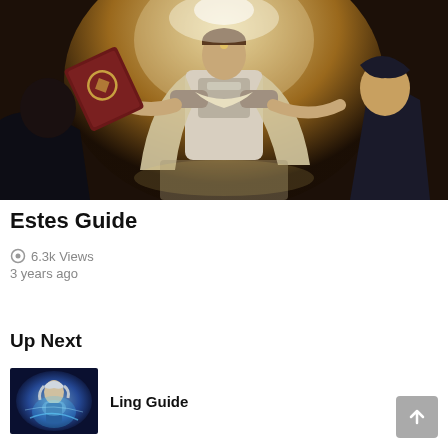[Figure (illustration): Estes character art from Mobile Legends: a robed mage with a glowing book, long cape, standing in a dramatic pose with magical energy around him, dark-haired figures in the foreground]
Estes Guide
6.3k Views
3 years ago
Up Next
[Figure (illustration): Ling character thumbnail - a silver/blue haired character with light effects]
Ling Guide